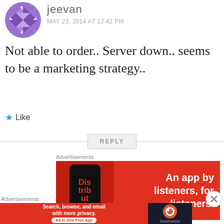[Figure (illustration): Purple geometric avatar/logo for user jeevan]
jeevan
MAY 23, 2014 AT 12:42 PM
Not able to order.. Server down.. seems to be a marketing strategy..
★ Like
REPLY
Advertisements
[Figure (illustration): Red advertisement banner for an app: 'An app by listeners, for listeners.' with phone mockup showing 'Distrib' text]
Advertisements
[Figure (illustration): Red advertisement banner: 'Search, browse, and email with more privacy. All in One Free App' with DuckDuckGo logo on dark background]